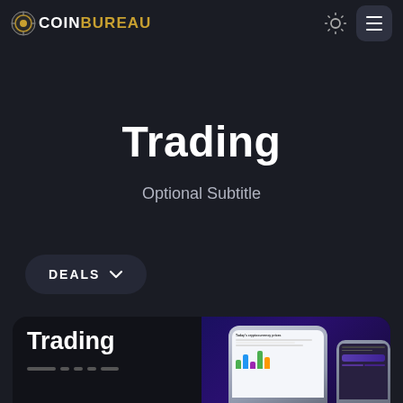COINBUREAU
Trading
Optional Subtitle
DEALS
Trading